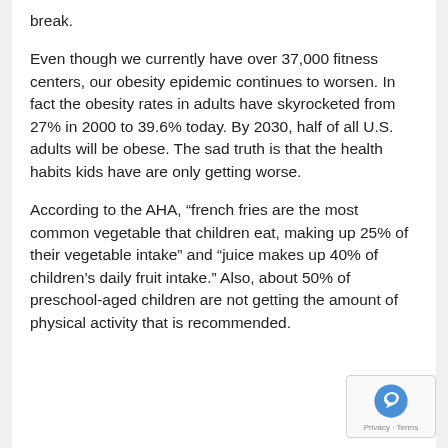break.
Even though we currently have over 37,000 fitness centers, our obesity epidemic continues to worsen. In fact the obesity rates in adults have skyrocketed from 27% in 2000 to 39.6% today. By 2030, half of all U.S. adults will be obese. The sad truth is that the health habits kids have are only getting worse.
According to the AHA, “french fries are the most common vegetable that children eat, making up 25% of their vegetable intake” and “juice makes up 40% of children’s daily fruit intake.” Also, about 50% of preschool-aged children are not getting the amount of physical activity that is recommended.